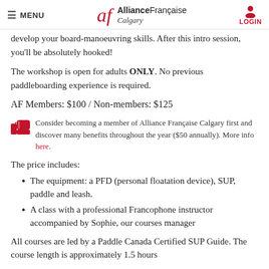MENU | Alliance Française Calgary | LOGIN
develop your board-manoeuvring skills. After this intro session, you'll be absolutely hooked!
The workshop is open for adults ONLY. No previous paddleboarding experience is required.
AF Members: $100 / Non-members: $125
Consider becoming a member of Alliance Française Calgary first and discover many benefits throughout the year ($50 annually). More info here.
The price includes:
The equipment: a PFD (personal floatation device), SUP, paddle and leash.
A class with a professional Francophone instructor accompanied by Sophie, our courses manager
All courses are led by a Paddle Canada Certified SUP Guide. The course length is approximately 1.5 hours